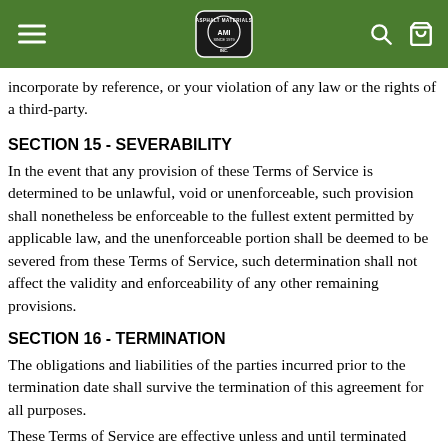Asphalt Materials Inc. navigation bar
incorporate by reference, or your violation of any law or the rights of a third-party.
SECTION 15 - SEVERABILITY
In the event that any provision of these Terms of Service is determined to be unlawful, void or unenforceable, such provision shall nonetheless be enforceable to the fullest extent permitted by applicable law, and the unenforceable portion shall be deemed to be severed from these Terms of Service, such determination shall not affect the validity and enforceability of any other remaining provisions.
SECTION 16 - TERMINATION
The obligations and liabilities of the parties incurred prior to the termination date shall survive the termination of this agreement for all purposes.
These Terms of Service are effective unless and until terminated